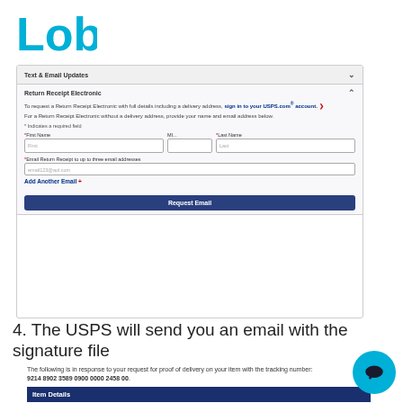[Figure (logo): Lob company logo in cyan/teal blue bold lettering]
[Figure (screenshot): USPS website screenshot showing 'Text & Email Updates' collapsed section and 'Return Receipt Electronic' expanded section with form fields for First Name, MI, Last Name, Email, and a Request Email button]
4. The USPS will send you an email with the signature file
[Figure (screenshot): USPS email screenshot showing proof of delivery response for tracking number 9214 8902 3589 0900 0000 2458 00, with Item Details table showing Status: Delivered, Left with Individual; Status Date/Time: March 25, 2019, 1:03 pm; Location: SAN FRANCISCO, CA 94107; Postal Product: First-Class Mail; Extra Services: Certified Mail]